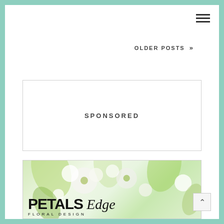[Figure (screenshot): Hamburger menu icon (three horizontal lines) in top right corner]
OLDER POSTS »
SPONSORED
[Figure (logo): Petals Edge Floral Design logo with floral background showing white and green flowers]